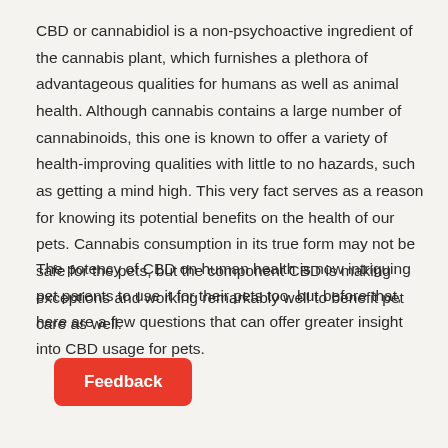CBD or cannabidiol is a non-psychoactive ingredient of the cannabis plant, which furnishes a plethora of advantageous qualities for humans as well as animal health. Although cannabis contains a large number of cannabinoids, this one is known to offer a variety of health-improving qualities with little to no hazards, such as getting a mind high. This very fact serves as a reason for knowing its potential benefits on the health of our pets. Cannabis consumption in its true form may not be safe for the pets, but the component CBD is making exceptions and working remarkably well to benefit pet care as well.
The potency of CBD on human health is now intriguing pet parents to use it for their pets too, but before that, here are a few questions that can offer greater insight into CBD usage for pets.
Feedback